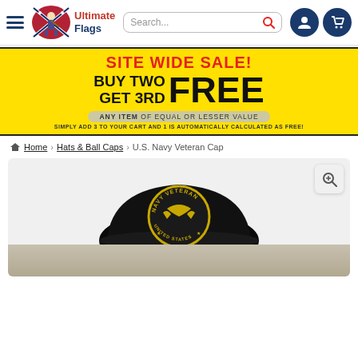[Figure (screenshot): Website header with hamburger menu, Ultimate Flags logo, search bar, user icon, and cart icon]
[Figure (infographic): Yellow promotional banner: SITE WIDE SALE! BUY TWO GET 3RD FREE - ANY ITEM OF EQUAL OR LESSER VALUE - SIMPLY ADD 3 TO YOUR CART AND 1 IS AUTOMATICALLY CALCULATED AS FREE!]
Home > Hats & Ball Caps > U.S. Navy Veteran Cap
[Figure (photo): Photo of a U.S. Navy Veteran Cap - black baseball cap with gold embroidered text and eagle emblem]